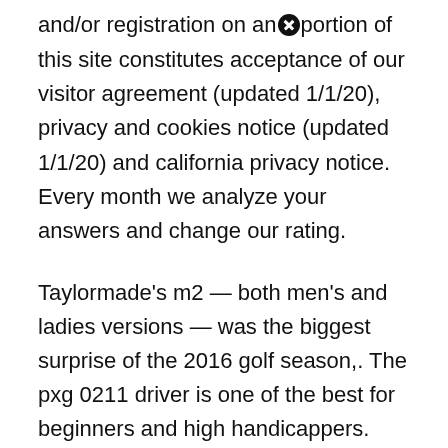and/or registration on any portion of this site constitutes acceptance of our visitor agreement (updated 1/1/20), privacy and cookies notice (updated 1/1/20) and california privacy notice. Every month we analyze your answers and change our rating.
Taylormade's m2 — both men's and ladies versions — was the biggest surprise of the 2016 golf season,. The pxg 0211 driver is one of the best for beginners and high handicappers. The higher launch angle allows you to get greater carry with your tee shot.
While the m1 is perfect for the tinkerers out there, we feel the m2 provides. The cobra radspeed xd driver will suit beginners, who can take advantage